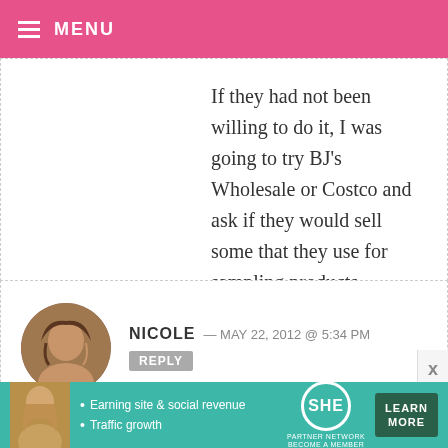MENU
If they had not been willing to do it, I was going to try BJ’s Wholesale or Costco and ask if they would sell some that they use for sampling products.
NICOLE — MAY 22, 2012 @ 5:34 PM  REPLY
So sad that the little white spoons aren’t for sale on the Bake It Pretty website. Only the colored ones are. Ive been looking everywhere for a small
[Figure (other): Advertisement banner for SHE Partner Network with photo of woman, text: Earning site & social revenue, Traffic growth, LEARN MORE button]